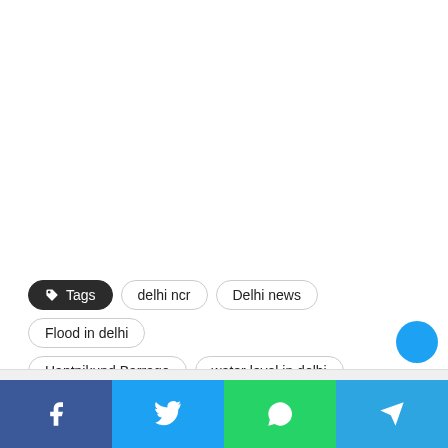Tags: delhi ncr, Delhi news, Flood in delhi, Hantnikund Barrage, water level in delhi, Yamuna River
Share bar: Facebook, Twitter, WhatsApp, Telegram